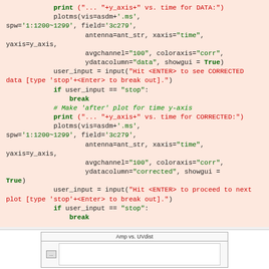[Figure (screenshot): Code block showing Python script with plotms calls for DATA and CORRECTED visibility data, with user_input prompts and break statements. Red text for strings/output, green for keywords and string literals.]
[Figure (screenshot): Partial screenshot of a plot window titled 'Amp vs. UVdist']